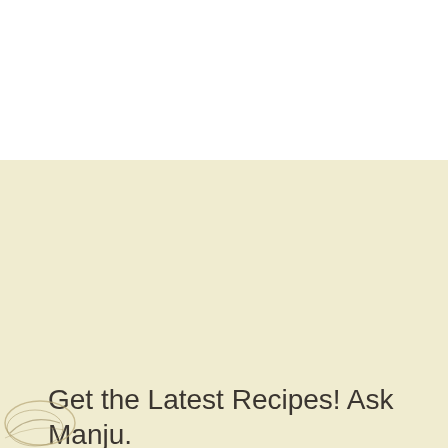[Figure (illustration): White top section of a webpage, blank area above a cream/beige newsletter signup section.]
Get the Latest Recipes! Ask Manju.
Name
Email_Address
[Figure (illustration): Partial decorative circular illustration with brushstroke-style lines at the bottom-left corner of the page.]